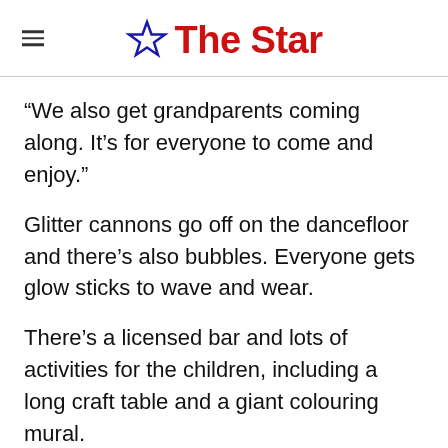The Star
“We also get grandparents coming along. It’s for everyone to come and enjoy.”
Glitter cannons go off on the dancefloor and there’s also bubbles. Everyone gets glow sticks to wave and wear.
There’s a licensed bar and lots of activities for the children, including a long craft table and a giant colouring mural.
A chillout area for babies has mats and a ball